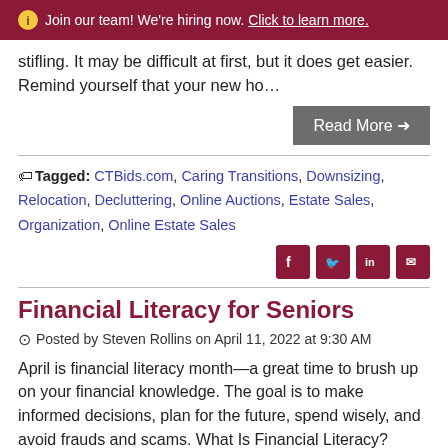ⓘ Join our team! We're hiring now. Click to learn more.
stifling. It may be difficult at first, but it does get easier. Remind yourself that your new ho…
Read More →
Tagged: CTBids.com, Caring Transitions, Downsizing, Relocation, Decluttering, Online Auctions, Estate Sales, Organization, Online Estate Sales
Financial Literacy for Seniors
Posted by Steven Rollins on April 11, 2022 at 9:30 AM
April is financial literacy month—a great time to brush up on your financial knowledge. The goal is to make informed decisions, plan for the future, spend wisely, and avoid frauds and scams. What Is Financial Literacy? Investopedia provides this definition of